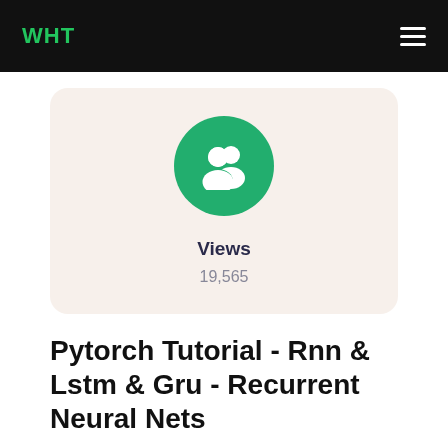WHT
[Figure (illustration): Green circle with white group/people icon representing viewers or community]
Views
19,565
Pytorch Tutorial - Rnn & Lstm & Gru - Recurrent Neural Nets